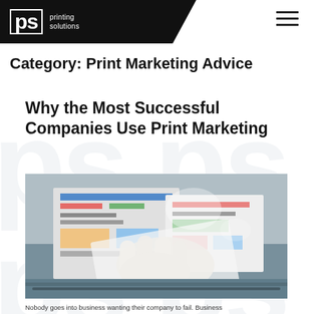ps printing solutions
Category: Print Marketing Advice
Why the Most Successful Companies Use Print Marketing
[Figure (photo): Close-up of a gloved hand holding printed marketing materials (brochures/flyers) coming off a printing press, with colorful printed sheets visible in the background on the press bed.]
Nobody goes into business wanting their company to fail. Business